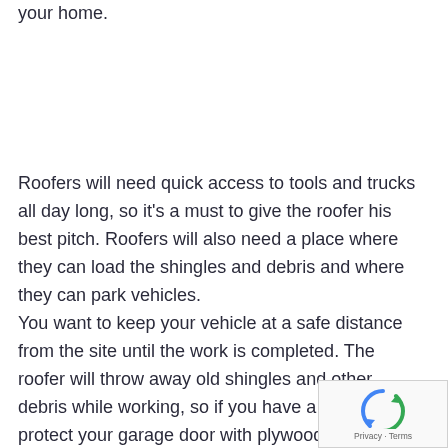your home.
Roofers will need quick access to tools and trucks all day long, so it's a must to give the roofer his best pitch. Roofers will also need a place where they can load the shingles and debris and where they can park vehicles.
You want to keep your vehicle at a safe distance from the site until the work is completed. The roofer will throw away old shingles and other debris while working, so if you have a garage, protect your garage door with plywood during the project. Keep it closed at all times of the day and night to keep dust and debris